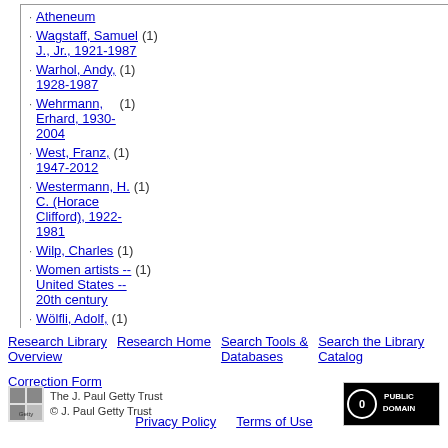Atheneum
Wagstaff, Samuel J., Jr., 1921-1987 (1)
Warhol, Andy, 1928-1987 (1)
Wehrmann, Erhard, 1930-2004 (1)
West, Franz, 1947-2012 (1)
Westermann, H. C. (Horace Clifford), 1922-1981 (1)
Wilp, Charles (1)
Women artists -- United States -- 20th century (1)
Wölfli, Adolf, 1864-1930 (1)
Research Library Overview   Research Home   Search Tools & Databases   Search the Library Catalog   Correction Form
The J. Paul Getty Trust © J. Paul Getty Trust   Privacy Policy   Terms of Use